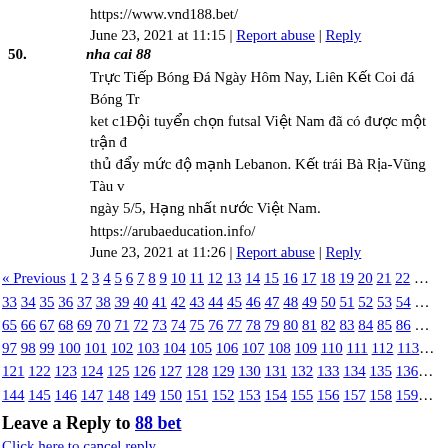https://www.vnd188.bet/
June 23, 2021 at 11:15 | Report abuse | Reply
50. nha cai 88
Trực Tiếp Bóng Đá Ngày Hôm Nay, Liên Kết Coi đá Bóng Tr... ket c1Đội tuyển chọn futsal Việt Nam đã có được một trận đ... thủ đẩy mức độ mạnh Lebanon. Kết trái Bà Rịa-Vũng Tàu v... ngày 5/5, Hạng nhất nước Việt Nam.
https://arubaeducation.info/
June 23, 2021 at 11:26 | Report abuse | Reply
« Previous 1 2 3 4 5 6 7 8 9 10 11 12 13 14 15 16 17 18 19 20 21 22 ... 33 34 35 36 37 38 39 40 41 42 43 44 45 46 47 48 49 50 51 52 53 54 ... 65 66 67 68 69 70 71 72 73 74 75 76 77 78 79 80 81 82 83 84 85 86 ... 97 98 99 100 101 102 103 104 105 106 107 108 109 110 111 112 113 ... 121 122 123 124 125 126 127 128 129 130 131 132 133 134 135 136 ... 144 145 146 147 148 149 150 151 152 153 154 155 156 157 158 159 ...
Leave a Reply to 88 bet
Click here to cancel reply.
| Name: (required) | E-mail: (required, but will not be shown) |
| --- | --- |